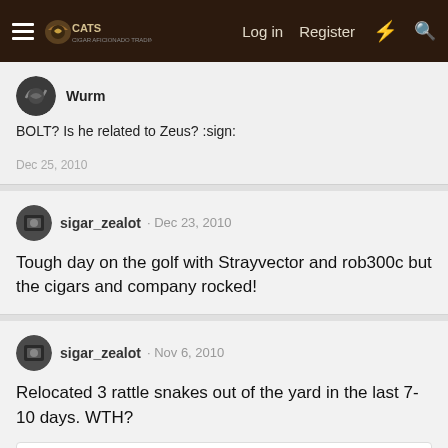Navigation bar with hamburger menu, logo, Log in, Register, and icons
Wurm
BOLT? Is he related to Zeus? :sign:
Dec 25, 2010
sigar_zealot · Dec 23, 2010
Tough day on the golf with Strayvector and rob300c but the cigars and company rocked!
sigar_zealot · Nov 6, 2010
Relocated 3 rattle snakes out of the yard in the last 7-10 days. WTH?
PJ the Comic
Randy sounds like time to brew some Rattlesnake whiskey!
Nov 7, 2010